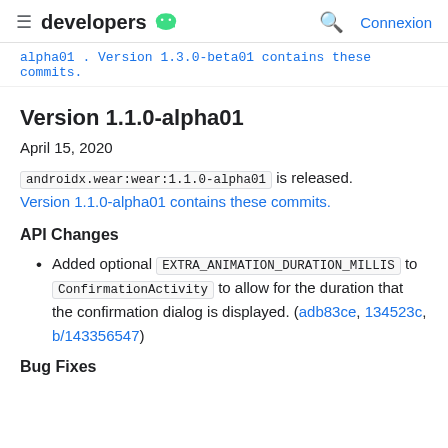≡ developers 🤖  🔍 Connexion
alpha01 . Version 1.3.0-beta01 contains these commits.
Version 1.1.0-alpha01
April 15, 2020
androidx.wear:wear:1.1.0-alpha01 is released. Version 1.1.0-alpha01 contains these commits.
API Changes
Added optional EXTRA_ANIMATION_DURATION_MILLIS to ConfirmationActivity to allow for the duration that the confirmation dialog is displayed. (adb83ce, 134523c, b/143356547)
Bug Fixes